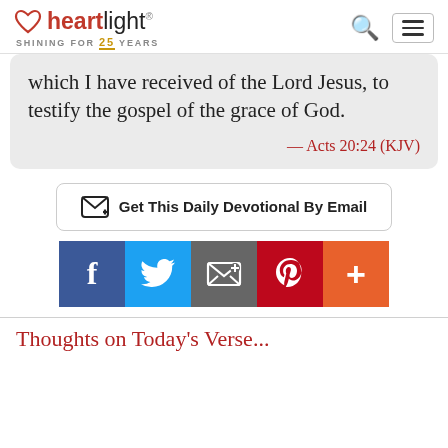heartlight — SHINING FOR 25 YEARS
which I have received of the Lord Jesus, to testify the gospel of the grace of God.
— Acts 20:24 (KJV)
Get This Daily Devotional By Email
[Figure (infographic): Social sharing buttons: Facebook (blue), Twitter (light blue), Email (gray), Pinterest (dark red), More (orange)]
Thoughts on Today's Verse...